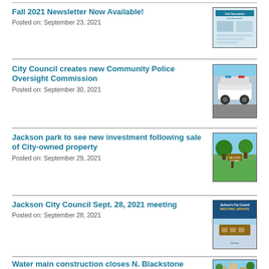Fall 2021 Newsletter Now Available!
Posted on: September 23, 2021
[Figure (photo): Thumbnail image of Fall 2021 Newsletter cover]
City Council creates new Community Police Oversight Commission
Posted on: September 30, 2021
[Figure (photo): Thumbnail image of police vehicle]
Jackson park to see new investment following sale of City-owned property
Posted on: September 29, 2021
[Figure (photo): Thumbnail image of park with green trees and sign]
Jackson City Council Sept. 28, 2021 meeting
Posted on: September 28, 2021
[Figure (photo): Thumbnail image of Jackson City Council Meeting Update graphic]
Water main construction closes N. Blackstone Street in Downtown
[Figure (photo): Thumbnail image of downtown street construction]